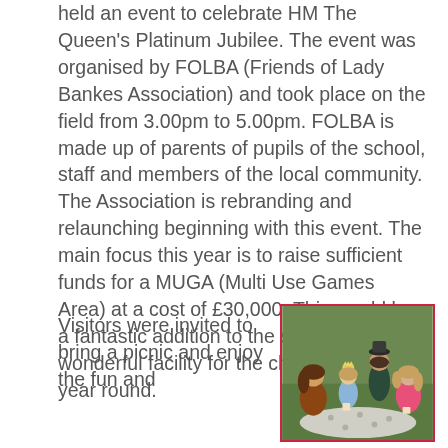held an event to celebrate HM The Queen's Platinum Jubilee. The event was organised by FOLBA (Friends of Lady Bankes Association) and took place on the field from 3.00pm to 5.00pm. FOLBA is made up of parents of pupils of the school, staff and members of the local community. The Association is rebranding and relaunching beginning with this event. The main focus this year is to raise sufficient funds for a MUGA (Multi Use Games Area) at a cost of £30,000. This would be a fantastic addition to the school and a wonderful facility for the children to use all year round.
Visitors were invited to bring a picnic and enjoy the fun and
[Figure (photo): A woman and three young girls sitting on a picnic blanket on grass, smiling at the camera. One girl is wearing a paper crown. They appear to be enjoying an outdoor event.]